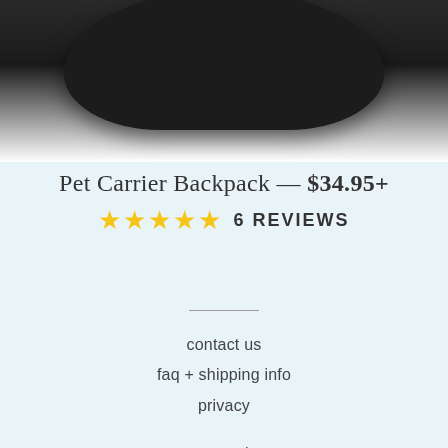[Figure (photo): Product photo of a dark/black Pet Carrier Backpack, showing the top portion of the bag against a white background]
Pet Carrier Backpack — $34.95+
★★★★★ 6 REVIEWS
contact us
faq + shipping info
privacy
returns + exchanges